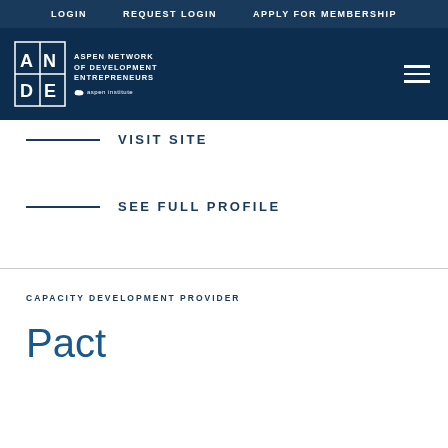LOGIN   REQUEST LOGIN   APPLY FOR MEMBERSHIP
[Figure (logo): ANDE - Aspen Network of Development Entrepreneurs, Aspen Institute logo in white on dark navy background with hamburger menu icon]
VISIT SITE
SEE FULL PROFILE
CAPACITY DEVELOPMENT PROVIDER
Pact